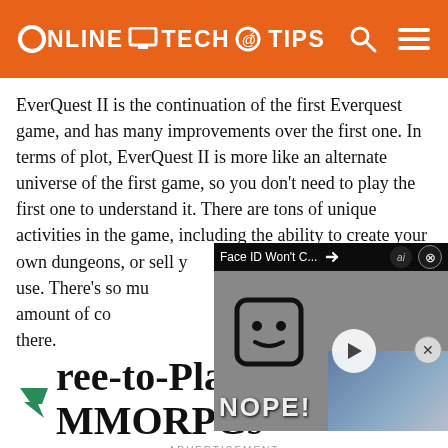ONLINE TECH TIPS
EverQuest II is the continuation of the first Everquest game, and has many improvements over the first one. In terms of plot, EverQuest II is more like an alternate universe of the first game, so you don't need to play the first one to understand it. There are tons of unique activities in the game, including the ability to create your own dungeons, or sell your own dungeons, or sell y players to use. There's so mu in terms of the amount of co best MMORPGs out there.
[Figure (screenshot): Video overlay popup showing animated face ID fail illustration with text 'Face ID Won't C...' and 'NOPE!' with a laptop, play button, and close button. AI badge visible.]
Free-to-Play MMORPGs
ADVERTISEMENT
MMOR s. becom g.